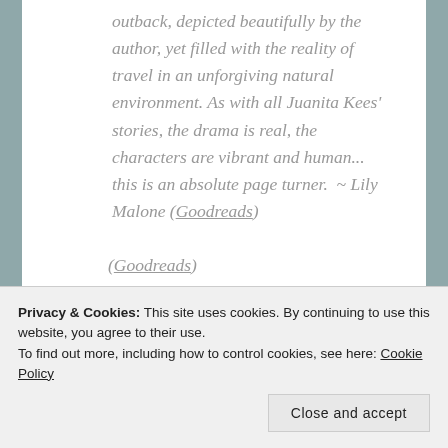outback, depicted beautifully by the author, yet filled with the reality of travel in an unforgiving natural environment. As with all Juanita Kees' stories, the drama is real, the characters are vibrant and human... this is an absolute page turner.  ~ Lily Malone (Goodreads)
I thoroughly enjoyed it. Kees' writing always includes suspense and mystery, which I love. Her writing also draws me in – (Goodreads)
Privacy & Cookies: This site uses cookies. By continuing to use this website, you agree to their use.
To find out more, including how to control cookies, see here: Cookie Policy